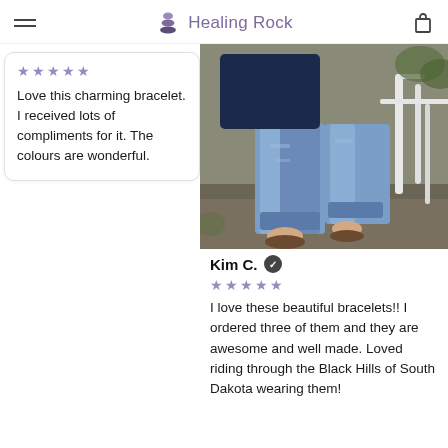Healing Rock
Love this charming bracelet. I received lots of compliments for it. The colours are wonderful.
[Figure (photo): Photo of a person wearing bracelets, sitting in a white chair outdoors, wearing blue jeans and sandals]
Kim C. ✓
★★★★★
I love these beautiful bracelets!! I ordered three of them and they are awesome and well made. Loved riding through the Black Hills of South Dakota wearing them!